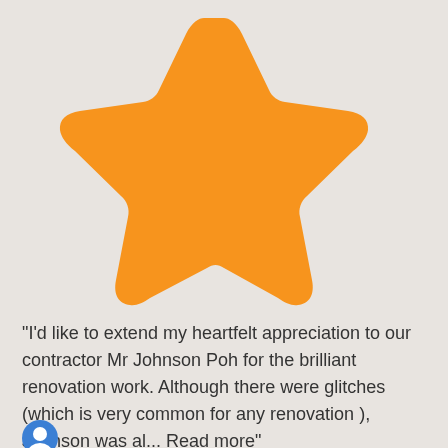[Figure (illustration): Large orange rounded star icon centered at the top of the card]
"I'd like to extend my heartfelt appreciation to our contractor Mr Johnson Poh for the brilliant renovation work. Although there were glitches (which is very common for any renovation ), Johnson was al... Read more"
[Figure (illustration): Blue circular avatar icon at the bottom left]